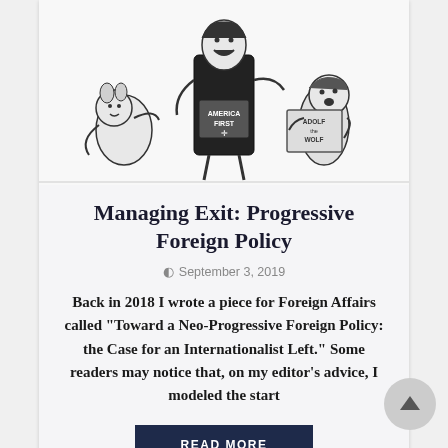[Figure (illustration): Black and white political cartoon showing three cartoon figures: a laughing tall figure holding a book labeled 'America First', a small figure on the left, and a figure on the right holding a book labeled 'Adolf the Wolf'.]
Managing Exit: Progressive Foreign Policy
September 3, 2019
Back in 2018 I wrote a piece for Foreign Affairs called "Toward a Neo-Progressive Foreign Policy: the Case for an Internationalist Left." Some readers may notice that, on my editor's advice, I modeled the start
READ MORE